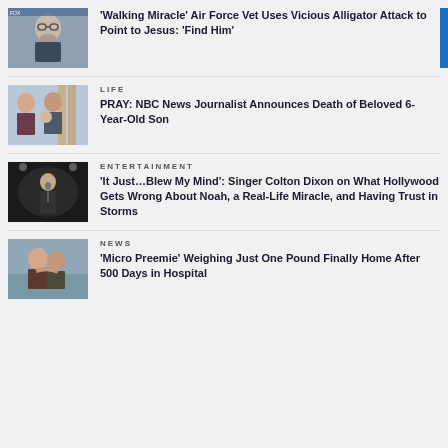[Figure (photo): Thumbnail photo of a man with glasses and beard]
'Walking Miracle' Air Force Vet Uses Vicious Alligator Attack to Point to Jesus: 'Find Him'
[Figure (photo): Thumbnail photo of a family with woman, man and child]
LIFE
PRAY: NBC News Journalist Announces Death of Beloved 6-Year-Old Son
[Figure (photo): Thumbnail photo of a performer on stage in dark setting]
ENTERTAINMENT
'It Just...Blew My Mind': Singer Colton Dixon on What Hollywood Gets Wrong About Noah, a Real-Life Miracle, and Having Trust in Storms
[Figure (photo): Thumbnail photo of people hugging in what appears to be a hospital setting]
NEWS
'Micro Preemie' Weighing Just One Pound Finally Home After 500 Days in Hospital